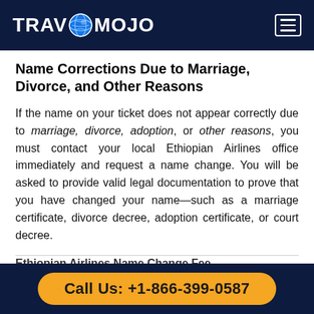TRAVMOJO
Name Corrections Due to Marriage, Divorce, and Other Reasons
If the name on your ticket does not appear correctly due to marriage, divorce, adoption, or other reasons, you must contact your local Ethiopian Airlines office immediately and request a name change. You will be asked to provide valid legal documentation to prove that you have changed your name—such as a marriage certificate, divorce decree, adoption certificate, or court decree.
Ethiopian Airlines Name Change Fee
Call Us: +1-866-399-0587